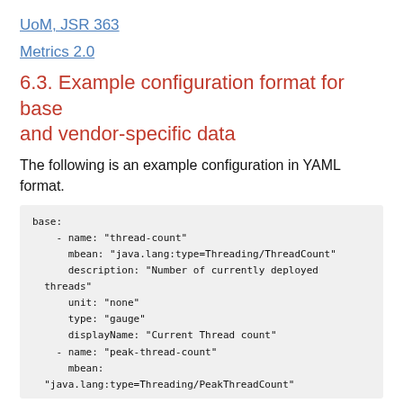UoM, JSR 363
Metrics 2.0
6.3. Example configuration format for base and vendor-specific data
The following is an example configuration in YAML format.
base:
    - name: "thread-count"
      mbean: "java.lang:type=Threading/ThreadCount"
      description: "Number of currently deployed threads"
      unit: "none"
      type: "gauge"
      displayName: "Current Thread count"
    - name: "peak-thread-count"
      mbean:
"java.lang:type=Threading/PeakThreadCount"